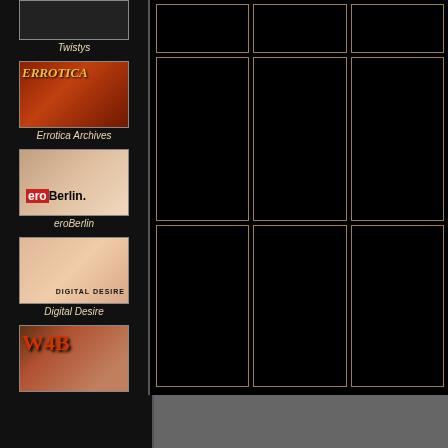[Figure (screenshot): Thumbnail image for Twistys website]
Twistys
[Figure (screenshot): Thumbnail image for Errotica Archives website with logo]
Errotica Archives
[Figure (screenshot): Thumbnail image for eroBerlin website]
eroBerlin
[Figure (screenshot): Thumbnail image for Digital Desire website]
Digital Desire
[Figure (screenshot): Thumbnail image for Watch4beauty website]
Watch4beauty
[Figure (screenshot): Main content area with grid of black thumbnail cells arranged in 3 columns and 3 rows]